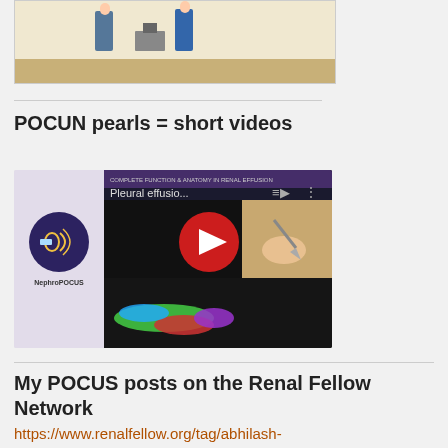[Figure (illustration): Partial view of a medical/educational illustration card showing figures at the top of the page, cropped]
POCUN pearls = short videos
[Figure (screenshot): YouTube video thumbnail for 'Pleural effusio...' from NephroPOCUS channel, showing a play button with ultrasound/anatomy imagery and a hand writing on paper]
My POCUS posts on the Renal Fellow Network
https://www.renalfellow.org/tag/abhilash-